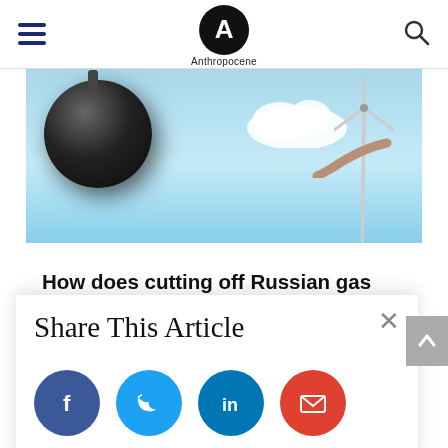Anthropocene
[Figure (photo): Hero image showing a dark wrecking ball suspended by a chain against a blue sky background with clouds and a wind turbine visible]
How does cutting off Russian gas affect Europe’s ability to meet climate targets?
A new study finds that if the EU pursues ambitious climate action, Russian gas
Share This Article